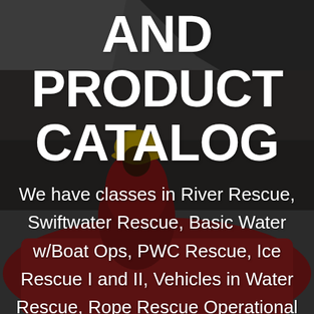[Figure (photo): Dark, moody background photo of a rescue worker in red gear and yellow helmet crouching next to red rescue equipment/boat, with structural elements visible above. The image is darkened/dimmed to allow white text overlay.]
AND PRODUCT CATALOG
We have classes in River Rescue, Swiftwater Rescue, Basic Water w/Boat Ops, PWC Rescue, Ice Rescue I and II, Vehicles in Water Rescue, Rope Rescue Operational and